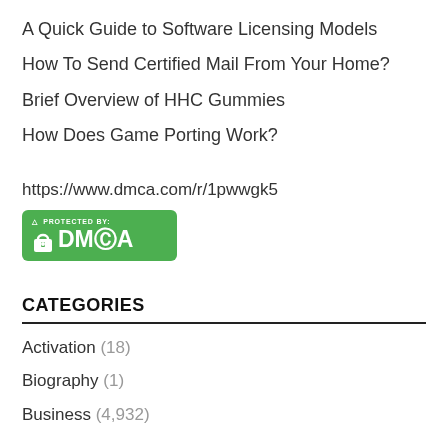A Quick Guide to Software Licensing Models
How To Send Certified Mail From Your Home?
Brief Overview of HHC Gummies
How Does Game Porting Work?
https://www.dmca.com/r/1pwwgk5
[Figure (logo): DMCA Protected badge - green rounded rectangle with lock icon and text 'PROTECTED BY: DMCA']
CATEGORIES
Activation (18)
Biography (1)
Business (4,932)